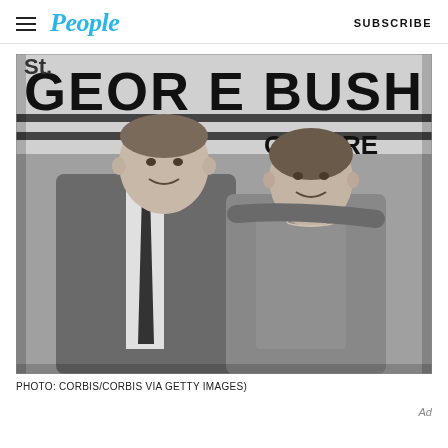People | SUBSCRIBE
[Figure (photo): Black-and-white photograph of George Bush and a woman posing together in front of a campaign banner reading 'GEORGE BUSH FOR CONGRESS']
PHOTO: CORBIS/CORBIS VIA GETTY IMAGES)